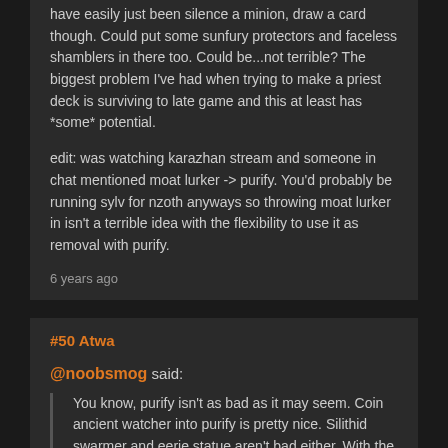have easily just been silence a minion, draw a card though. Could put some sunfury protectors and faceless shamblers in there too. Could be...not terrible? The biggest problem I've had when trying to make a priest deck is surviving to late game and this at least has *some* potential.
edit: was watching karazhan stream and someone in chat mentioned moat lurker -> purify. You'd probably be running sylv for nzoth anyways so throwing moat lurker in isn't a terrible idea with the flexibility to use it as removal with purify.
6 years ago
#50 Atwa
@noobsmog said:
You know, purify isn't as bad as it may seem. Coin ancient watcher into purify is pretty nice. Silithid swarmer and eerie statue aren't bad either. With the position priest is in it could have easily just been